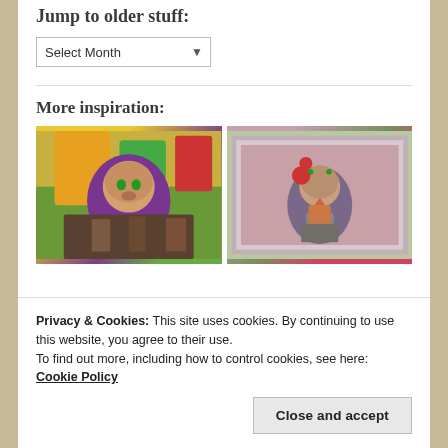Jump to older stuff:
Select Month
More inspiration:
[Figure (photo): Craft art image showing anime-style character with purple hair surrounded by colorful letters and wooden elements]
[Figure (photo): Craft card image showing a cute character with balloons and a heart, surrounded by floral pink border]
[Figure (photo): Partially visible craft image at bottom left]
[Figure (photo): Partially visible craft image at bottom right]
Privacy & Cookies: This site uses cookies. By continuing to use this website, you agree to their use.
To find out more, including how to control cookies, see here: Cookie Policy
Close and accept